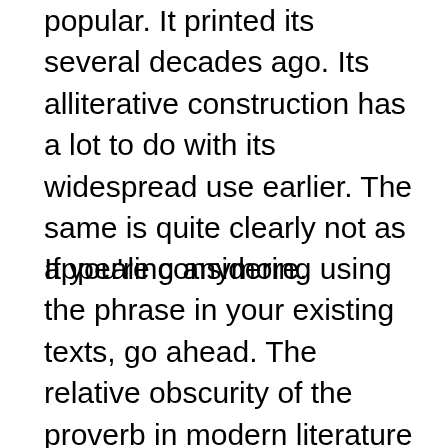popular. It printed its several decades ago. Its alliterative construction has a lot to do with its widespread use earlier. The same is quite clearly not as appealing anymore.
If you're considering using the phrase in your existing texts, go ahead. The relative obscurity of the proverb in modern literature is no excuse or shouldn't prevent you from incorporating the term in your manuscripts. Just make sure you consider your sentence's context before incorporating the idiom.
It's not that difficult to commit blunders while using the phrase in your texts. The rule should be not to push it forcibly or inorganically. If the sentence asks for the expression to be included, throw it in